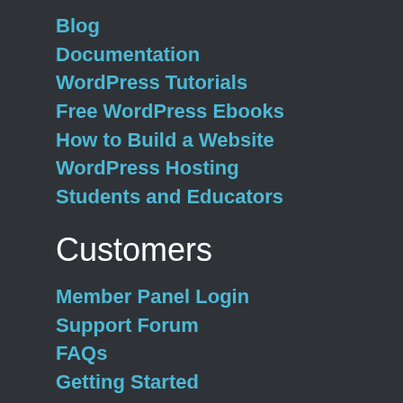Blog
Documentation
WordPress Tutorials
Free WordPress Ebooks
How to Build a Website
WordPress Hosting
Students and Educators
Customers
Member Panel Login
Support Forum
FAQs
Getting Started
Loyalty Discount
Upgrade Discounts
Licensing